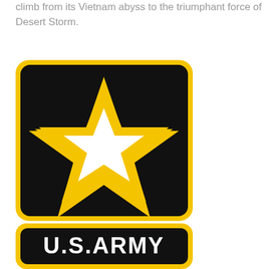climb from its Vietnam abyss to the triumphant force of Desert Storm.
[Figure (logo): U.S. Army logo consisting of a black square with rounded corners and a gold border, featuring a five-pointed star outline in gold with a white center. Below is a black rounded rectangle with 'U.S. ARMY' text in bold white letters on a gold/black background.]